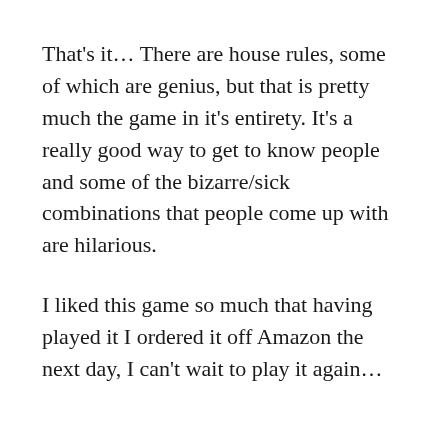That's it… There are house rules, some of which are genius, but that is pretty much the game in it's entirety. It's a really good way to get to know people and some of the bizarre/sick combinations that people come up with are hilarious.
I liked this game so much that having played it I ordered it off Amazon the next day, I can't wait to play it again…